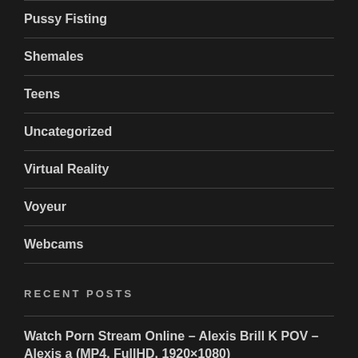Pussy Fisting
Shemales
Teens
Uncategorized
Virtual Reality
Voyeur
Webcams
RECENT POSTS
Watch Porn Stream Online – Alexis Brill K POV – Alexis a (MP4, FullHD, 1920×1080)